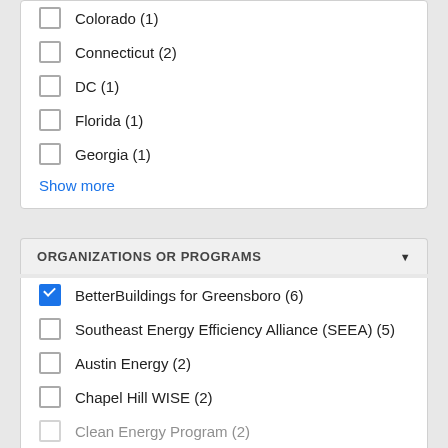Colorado (1)
Connecticut (2)
DC (1)
Florida (1)
Georgia (1)
Show more
ORGANIZATIONS OR PROGRAMS
BetterBuildings for Greensboro (6)
Southeast Energy Efficiency Alliance (SEEA) (5)
Austin Energy (2)
Chapel Hill WISE (2)
Clean Energy Program (2)